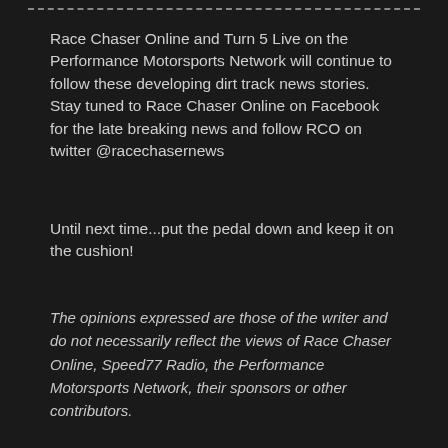Race Chaser Online and Turn 5 Live on the Performance Motorsports Network will continue to follow these developing dirt track news stories.  Stay tuned to Race Chaser Online on Facebook for the late breaking news and follow RCO on twitter @racechasernews
Until next time...put the pedal down and keep it on the cushion!
The opinions expressed are those of the writer and do not necessarily reflect the views of Race Chaser Online, Speed77 Radio, the Performance Motorsports Network, their sponsors or other contributors.